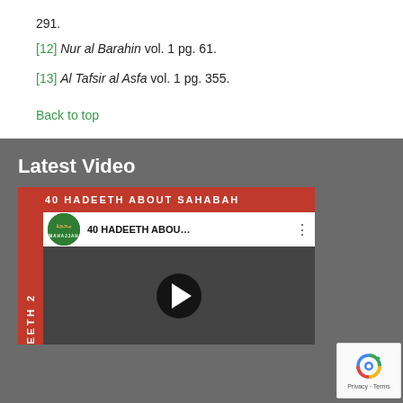291.
[12] Nur al Barahin vol. 1 pg. 61.
[13] Al Tafsir al Asfa vol. 1 pg. 355.
Back to top
Latest Video
[Figure (screenshot): YouTube video thumbnail showing '40 HADEETH ABOUT SAHABAH' with Mahajjah logo, play button overlay, and red bar on the left side.]
Featured Video